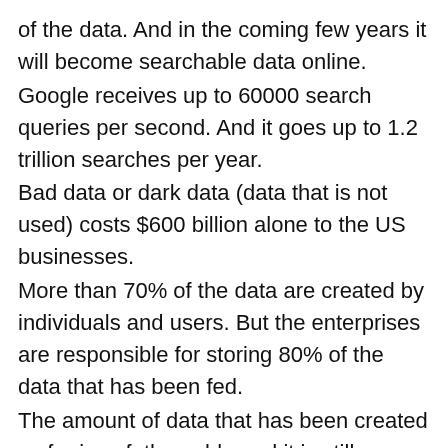of the data. And in the coming few years it will become searchable data online.
Google receives up to 60000 search queries per second. And it goes up to 1.2 trillion searches per year.
Bad data or dark data (data that is not used) costs $600 billion alone to the US businesses.
More than 70% of the data are created by individuals and users. But the enterprises are responsible for storing 80% of the data that has been fed.
The amount of data that has been created so far is unfathomable and it is still growing!
These are some of the astonishing facts which speak about the potential that data holds in the present scenario and also in the future. The numbers will